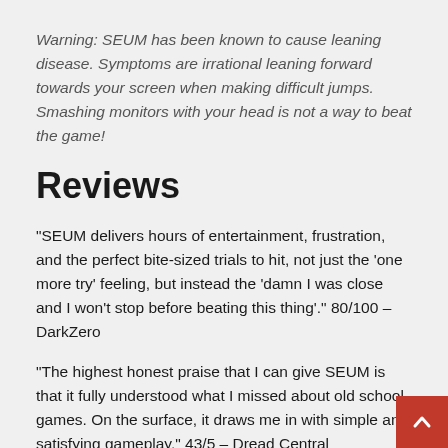Warning: SEUM has been known to cause leaning disease. Symptoms are irrational leaning forward towards your screen when making difficult jumps. Smashing monitors with your head is not a way to beat the game!
Reviews
“SEUM delivers hours of entertainment, frustration, and the perfect bite-sized trials to hit, not just the ‘one more try’ feeling, but instead the ‘damn I was close and I won’t stop before beating this thing’.” 80/100 – DarkZero
“The highest honest praise that I can give SEUM is that it fully understood what I missed about old school games. On the surface, it draws me in with simple and satisfying gameplay.” 43/5 – Dread Central